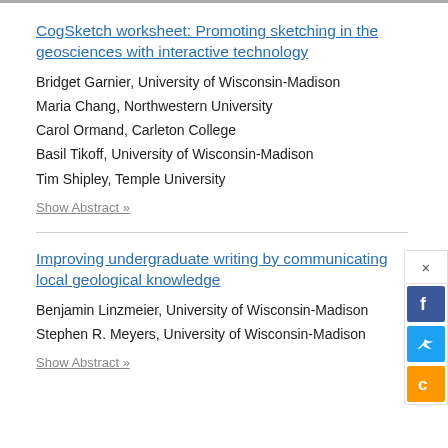CogSketch worksheet: Promoting sketching in the geosciences with interactive technology
Bridget Garnier, University of Wisconsin-Madison
Maria Chang, Northwestern University
Carol Ormand, Carleton College
Basil Tikoff, University of Wisconsin-Madison
Tim Shipley, Temple University
Show Abstract »
Improving undergraduate writing by communicating local geological knowledge
Benjamin Linzmeier, University of Wisconsin-Madison
Stephen R. Meyers, University of Wisconsin-Madison
Show Abstract »